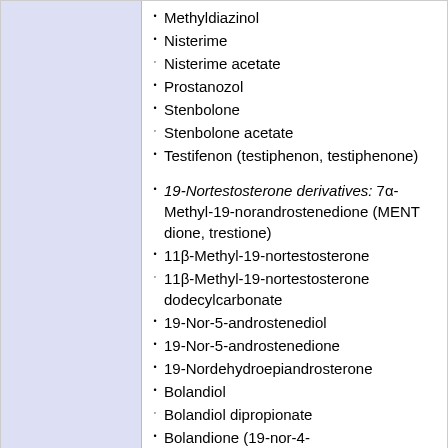Methyldiazinol
Nisterime
Nisterime acetate
Prostanozol
Stenbolone
Stenbolone acetate
Testifenon (testiphenon, testiphenone)
19-Nortestosterone derivatives: 7α-Methyl-19-norandrostenedione (MENT dione, trestione)
11β-Methyl-19-nortestosterone
11β-Methyl-19-nortestosterone dodecylcarbonate
19-Nor-5-androstenediol
19-Nor-5-androstenedione
19-Nordehydroepiandrosterone
Bolandiol
Bolandiol dipropionate
Bolandione (19-nor-4-